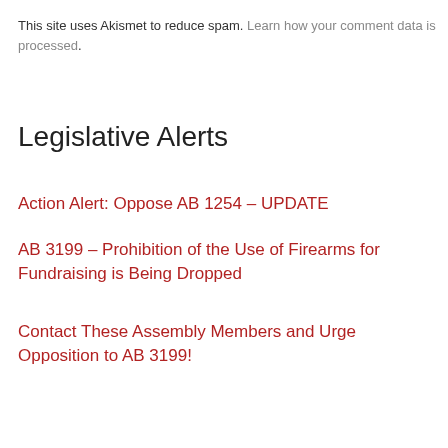This site uses Akismet to reduce spam. Learn how your comment data is processed.
Legislative Alerts
Action Alert: Oppose AB 1254 – UPDATE
AB 3199 – Prohibition of the Use of Firearms for Fundraising is Being Dropped
Contact These Assembly Members and Urge Opposition to AB 3199!